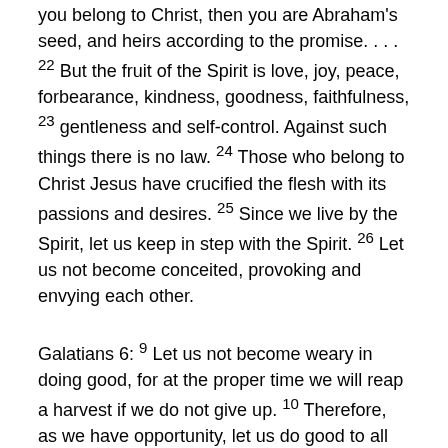you belong to Christ, then you are Abraham's seed, and heirs according to the promise. . . . 22 But the fruit of the Spirit is love, joy, peace, forbearance, kindness, goodness, faithfulness, 23 gentleness and self-control. Against such things there is no law. 24 Those who belong to Christ Jesus have crucified the flesh with its passions and desires. 25 Since we live by the Spirit, let us keep in step with the Spirit. 26 Let us not become conceited, provoking and envying each other.
Galatians 6: 9 Let us not become weary in doing good, for at the proper time we will reap a harvest if we do not give up. 10 Therefore, as we have opportunity, let us do good to all people, especially to those who belong to the family of believers.
Colossians 1: 9 For this reason, since the day we heard